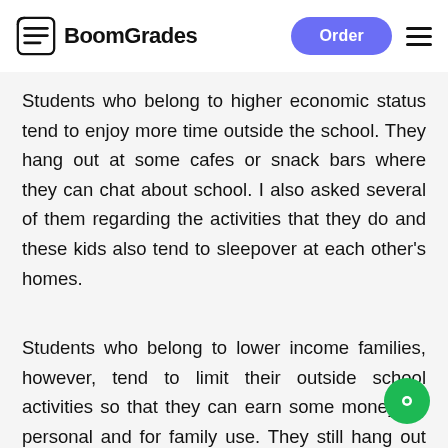BoomGrades | Order
Students who belong to higher economic status tend to enjoy more time outside the school. They hang out at some cafes or snack bars where they can chat about school. I also asked several of them regarding the activities that they do and these kids also tend to sleepover at each other's homes.
Students who belong to lower income families, however, tend to limit their outside school activities so that they can earn some money for personal and for family use. They still hang out with some of their friends; however, this is less frequent than the students from higher income families.
Another activity that occupies the leisure time of